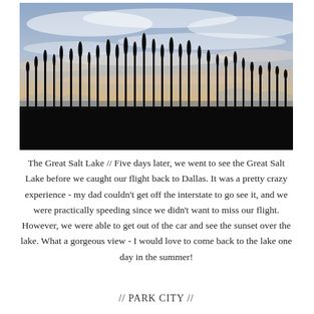[Figure (photo): Landscape photo of the Great Salt Lake at sunset. Silhouettes of tall reeds and cattails fill the bottom third. Above is a dramatic sky with wispy clouds lit in warm orange, pink, and blue tones. Water and distant mountains are faintly visible behind the reeds.]
The Great Salt Lake // Five days later, we went to see the Great Salt Lake before we caught our flight back to Dallas. It was a pretty crazy experience - my dad couldn't get off the interstate to go see it, and we were practically speeding since we didn't want to miss our flight. However, we were able to get out of the car and see the sunset over the lake. What a gorgeous view - I would love to come back to the lake one day in the summer!
// PARK CITY //